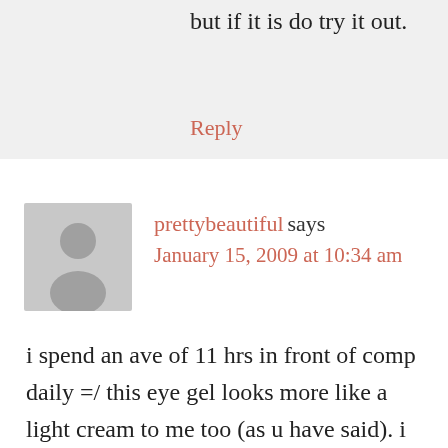but if it is do try it out.
Reply
prettybeautiful says
January 15, 2009 at 10:34 am
i spend an ave of 11 hrs in front of comp daily =/ this eye gel looks more like a light cream to me too (as u have said). i think dark circles can never ever go away, esp on a fair skin. regardless of the good sleeping habits, exp eye